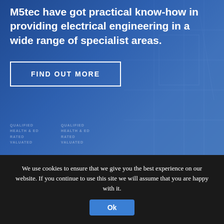M5tec have got practical know-how in providing electrical engineering in a wide range of specialist areas.
[Figure (screenshot): Blue-tinted background with engineering blueprint/diagram imagery visible on the right side, with a 'FIND OUT MORE' button overlay and faint watermark text columns at bottom left]
Hydraulic Engineering, Design & Draughting
We use cookies to ensure that we give you the best experience on our website. If you continue to use this site we will assume that you are happy with it.